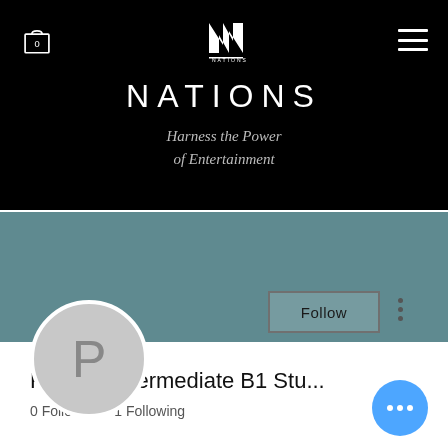[Figure (screenshot): Nations website screenshot showing black header navigation bar with cart icon (0), N logo, and hamburger menu]
NATIONS
Harness the Power of Entertainment
[Figure (screenshot): Teal/slate blue profile banner background]
Follow
Pioneer Intermediate B1 Stu...
0 Followers • 1 Following